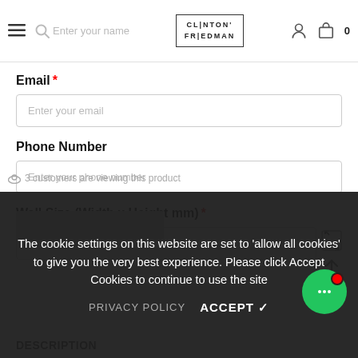Clinton Friedman - website header navigation
Email *
Enter your email
Phone Number
Enter your phone number
Wall Size (Width x Height mm) *
Dimension
The cookie settings on this website are set to 'allow all cookies' to give you the very best experience. Please click Accept Cookies to continue to use the site
PRIVACY POLICY
ACCEPT ✓
3 customers are viewing this product
DESCRIPTION